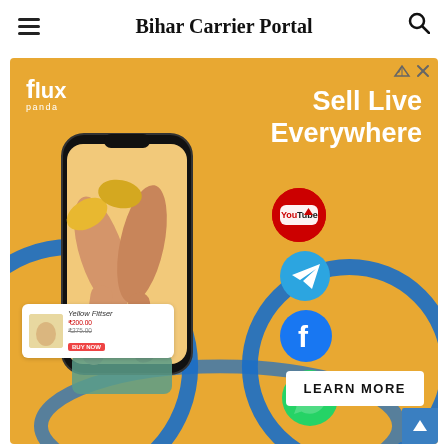Bihar Carrier Portal
[Figure (illustration): Advertisement banner for Flux Panda - 'Sell Live Everywhere' with phone showing legs in yellow sneakers, social media icons (YouTube, Telegram, Facebook, WhatsApp), blue decorative rings, product card for Yellow Fittser, and Learn More button.]